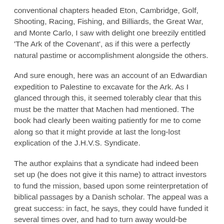conventional chapters headed Eton, Cambridge, Golf, Shooting, Racing, Fishing, and Billiards, the Great War, and Monte Carlo, I saw with delight one breezily entitled 'The Ark of the Covenant', as if this were a perfectly natural pastime or accomplishment alongside the others.
And sure enough, here was an account of an Edwardian expedition to Palestine to excavate for the Ark. As I glanced through this, it seemed tolerably clear that this must be the matter that Machen had mentioned. The book had clearly been waiting patiently for me to come along so that it might provide at last the long-lost explication of the J.H.V.S. Syndicate.
The author explains that a syndicate had indeed been set up (he does not give it this name) to attract investors to fund the mission, based upon some reinterpretation of biblical passages by a Danish scholar. The appeal was a great success: in fact, he says, they could have funded it several times over, and had to turn away would-be backers. His own involvement had come about through a friend-of-a-friend, and he had accepted the invitation out of a sense of